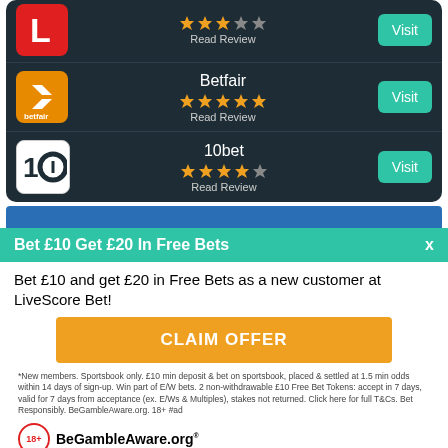[Figure (logo): LiveScore red logo with letter L]
[Figure (other): Star rating: 3 out of 5 stars]
Read Review
Visit
[Figure (logo): Betfair orange logo with up/down arrows]
Betfair
[Figure (other): Star rating: 5 out of 5 stars]
Read Review
Visit
[Figure (logo): 10bet white logo with number 10]
10bet
[Figure (other): Star rating: 4 out of 5 stars]
Read Review
Visit
Bet £10 Get £20 In Free Bets
Bet £10 and get £20 in Free Bets as a new customer at LiveScore Bet!
CLAIM OFFER
*New members. Sportsbook only. £10 min deposit & bet on sportsbook, placed & settled at 1.5 min odds within 14 days of sign-up. Win part of E/W bets. 2 non-withdrawable £10 Free Bet Tokens: accept in 7 days, valid for 7 days from acceptance (ex. E/Ws & Multiples), stakes not returned. Click here for full T&Cs. Bet Responsibly. BeGambleAware.org. 18+ #ad
BeGambleAware.org